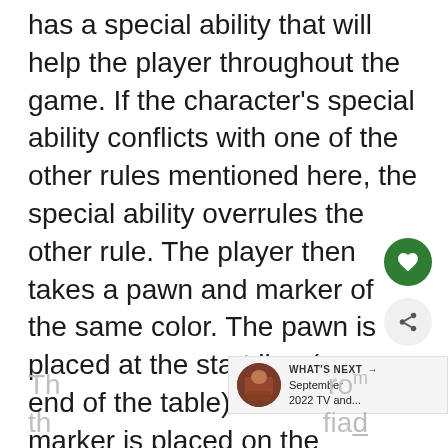has a special ability that will help the player throughout the game. If the character's special ability conflicts with one of the other rules mentioned here, the special ability overrules the other rule. The player then takes a pawn and marker of the same color. The pawn is placed at the start line (one end of the table) and the marker is placed on the character sheet in order to indicate whether the player is playing as a hero, neutral or villain (the differences between each explained below).
Th... ro... th... fia...